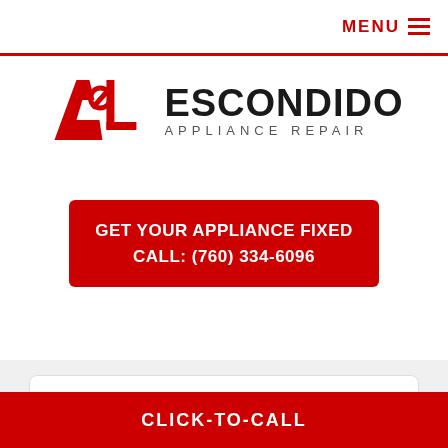MENU
[Figure (logo): A&L Escondido Appliance Repair logo with red A&L lettering and dark ESCONDIDO text above APPLIANCE REPAIR]
GET YOUR APPLIANCE FIXED CALL: (760) 334-6096
Why is My Refrigerator Not Cooling?
[Figure (photo): Partial view of a refrigerator appliance image]
CLICK-TO-CALL